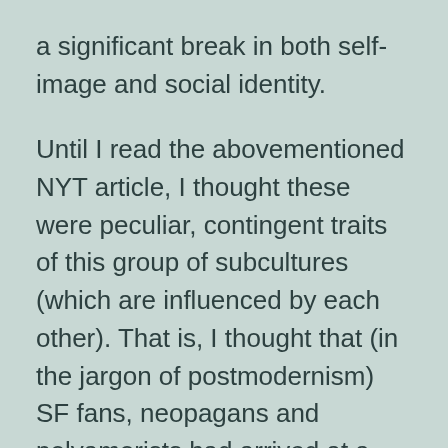a significant break in both self-image and social identity.
Until I read the abovementioned NYT article, I thought these were peculiar, contingent traits of this group of subcultures (which are influenced by each other). That is, I thought that (in the jargon of postmodernism) SF fans, neopagans and polyamorists had arrived at a common social construction of sexuality with no privileged relationship to the biological substructure.
Now I wonder. If the studies the article